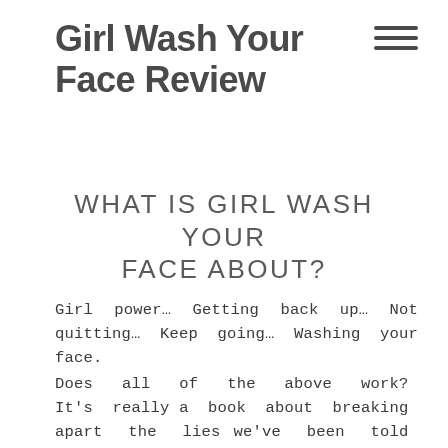Girl Wash Your Face Review
WHAT IS GIRL WASH YOUR FACE ABOUT?
Girl power… Getting back up… Not quitting… Keep going… Washing your face.
Does all of the above work? It's really a book about breaking apart the lies we've been told by society – and the ones we tell ourselves.